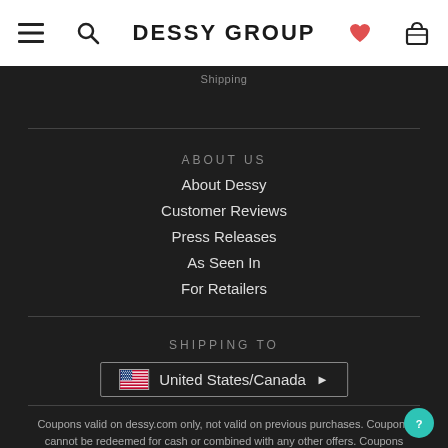DESSY GROUP
Shipping
ABOUT US
About Dessy
Customer Reviews
Press Releases
As Seen In
For Retailers
SHIPPING TO
United States/Canada
Coupons valid on dessy.com only, not valid on previous purchases. Coupons cannot be redeemed for cash or combined with any other offers. Coupons